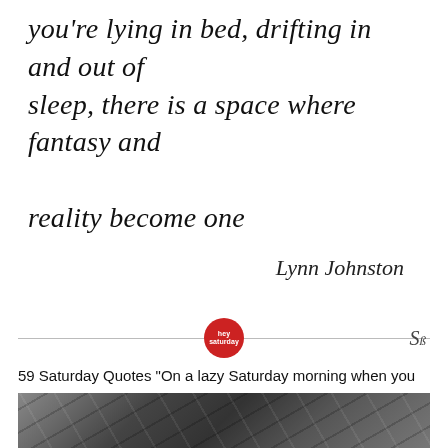you're lying in bed, drifting in and out of sleep, there is a space where fantasy and reality become one
Lynn Johnston
[Figure (infographic): Horizontal divider line with a red circular badge in the center containing 'hey saturday' text, and an 'Sb' script logo to the right]
59 Saturday Quotes "On a lazy Saturday morning when you
[Figure (photo): Black and white photograph showing wooden planks/beams at an angle, appearing to be a ceiling or structural elements of a building]